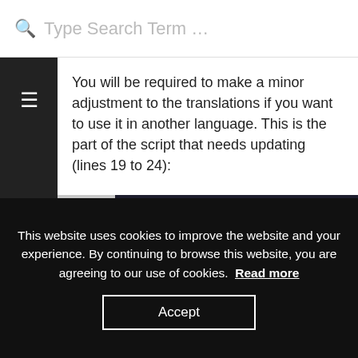Type Search Term …
You will be required to make a minor adjustment to the translations if you want to use it in another language. This is the part of the script that needs updating (lines 19 to 24):
[Figure (screenshot): Code editor showing lines 19–23, each with: <th class="cellSortHeading" — line numbers on grey background, code on dark background with syntax highlighting (purple for tags, teal for attributes, orange for values)]
This website uses cookies to improve the website and your experience. By continuing to browse this website, you are agreeing to our use of cookies. Read more
Accept